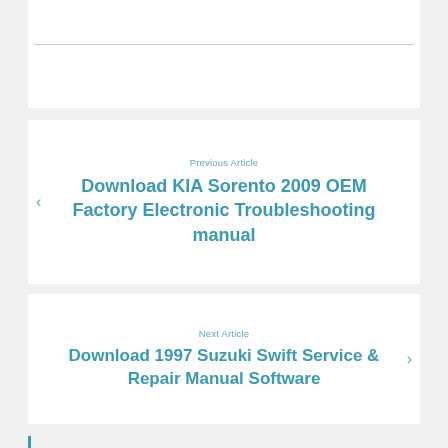Previous Article
Download KIA Sorento 2009 OEM Factory Electronic Troubleshooting manual
Next Article
Download 1997 Suzuki Swift Service & Repair Manual Software